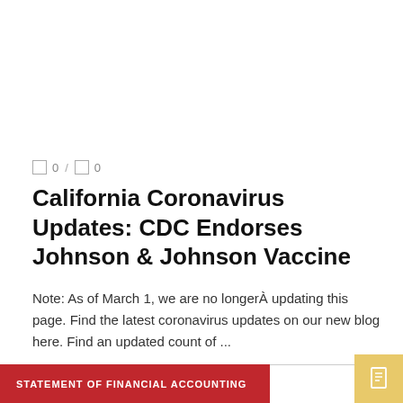0 / 0
California Coronavirus Updates: CDC Endorses Johnson & Johnson Vaccine
Note: As of March 1, we are no longerÀ updating this page. Find the latest coronavirus updates on our new blog here. Find an updated count of ...
READ MORE
STATEMENT OF FINANCIAL ACCOUNTING